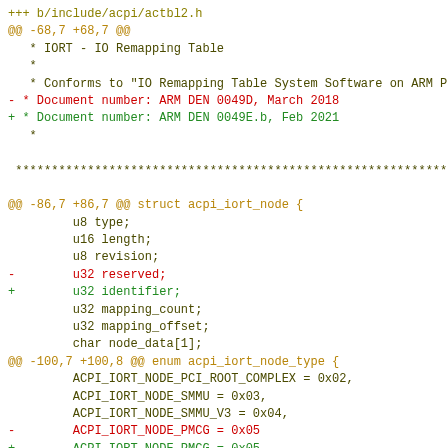+++ b/include/acpi/actbl2.h
@@ -68,7 +68,7 @@
   * IORT - IO Remapping Table
   *
   * Conforms to "IO Remapping Table System Software on ARM Platforms",
- * Document number: ARM DEN 0049D, March 2018
+ * Document number: ARM DEN 0049E.b, Feb 2021
   *

 ************************************************************

@@ -86,7 +86,7 @@ struct acpi_iort_node {
         u8 type;
         u16 length;
         u8 revision;
-        u32 reserved;
+        u32 identifier;
         u32 mapping_count;
         u32 mapping_offset;
         char node_data[1];
@@ -100,7 +100,8 @@ enum acpi_iort_node_type {
         ACPI_IORT_NODE_PCI_ROOT_COMPLEX = 0x02,
         ACPI_IORT_NODE_SMMU = 0x03,
         ACPI_IORT_NODE_SMMU_V3 = 0x04,
-        ACPI_IORT_NODE_PMCG = 0x05
+        ACPI_IORT_NODE_PMCG = 0x05,
+        ACPI_IORT_NODE_RMR = 0x06,
 };